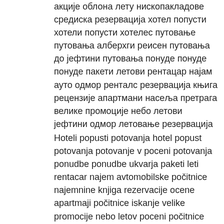акције облона лету нископакладове средиска резервација хотел попусти хотели попусти хотелес путовање путовања алберхги реисен путовања до јефтини путовања понуде понуде понуде пакети летови рентацар најам ауто одмор ренталс резервација књига рецензије апартмани насеља претрага велике промоције небо летови јефтини одмор летовање резервација
Hoteli popusti potovanja hotel popust potovanja potovanje v poceni potovanja ponudbe ponudbe ukvarja paketi leti rentacar najem avtomobilske počitnice najemnine knjiga rezervacije ocene apartmaji počitnice iskanje velike promocije nebo letov poceni počitnice rezervacija resort
Khách sạn ở Thành phố Nha Trang Khách sạn ở Thành phố Nha Trang Khách sạn ở Thành phố Phan Thiết Khách sạn ở Thành phố Phan Thiết Khách sạn ở Thành phố Nha Trang Khách sạn ở Thành phố Nha Trang
Mga Hotel diskwento paglalakbay mga hotel diskwento paglalakbay travel sa murang mga paglalakbay deal nag-aalok ng mga deal pakete flight rentacar rent car